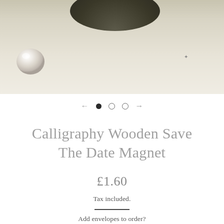[Figure (photo): Product photo showing a pearl and dark round object on a cream/beige surface, with image carousel navigation dots below]
Calligraphy Wooden Save The Date Magnet
£1.60
Tax included.
Add envelopes to order?